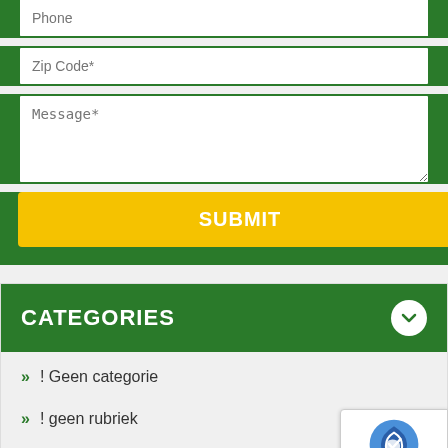Phone
Zip Code*
Message*
SUBMIT
CATEGORIES
! Geen categorie
! geen rubriek
! Non classé